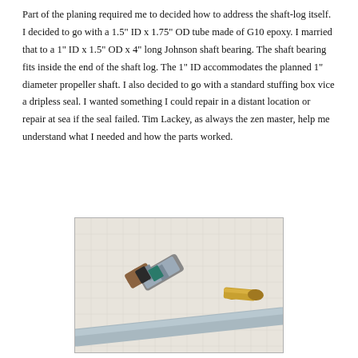Part of the planing required me to decided how to address the shaft-log itself. I decided to go with a 1.5" ID x 1.75" OD tube made of G10 epoxy. I married that to a 1" ID x 1.5" OD x 4" long Johnson shaft bearing. The shaft bearing fits inside the end of the shaft log. The 1" ID accommodates the planned 1" diameter propeller shaft. I also decided to go with a standard stuffing box vice a dripless seal. I wanted something I could repair in a distant location or repair at sea if the seal failed. Tim Lackey, as always the zen master, help me understand what I needed and how the parts worked.
[Figure (photo): Photograph of boat shaft components laid on a white fabric surface: a stuffing box/shaft bearing assembly with metallic tape wrapping and a wooden-looking end piece, a separate gold/brass cylindrical piece, and a long light-blue/grey tube (the G10 epoxy shaft log tube) in the foreground.]